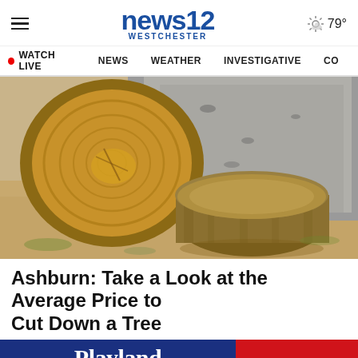news12 WESTCHESTER
79°
WATCH LIVE  NEWS  WEATHER  INVESTIGATIVE  CO
[Figure (photo): A cut tree log lying on sandy ground next to a tree stump, photographed outdoors in daylight.]
Ashburn: Take a Look at the Average Price to Cut Down a Tree
[Figure (other): Playland advertisement banner: blue section with Playland Since 1928 logo, red section with text '$20 TWILIGHT TIC']